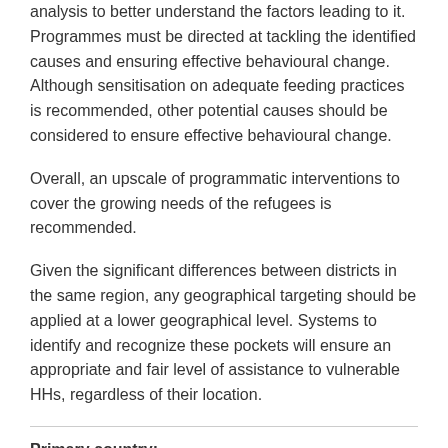analysis to better understand the factors leading to it. Programmes must be directed at tackling the identified causes and ensuring effective behavioural change. Although sensitisation on adequate feeding practices is recommended, other potential causes should be considered to ensure effective behavioural change.
Overall, an upscale of programmatic interventions to cover the growing needs of the refugees is recommended.
Given the significant differences between districts in the same region, any geographical targeting should be applied at a lower geographical level. Systems to identify and recognize these pockets will ensure an appropriate and fair level of assistance to vulnerable HHs, regardless of their location.
Primary country: